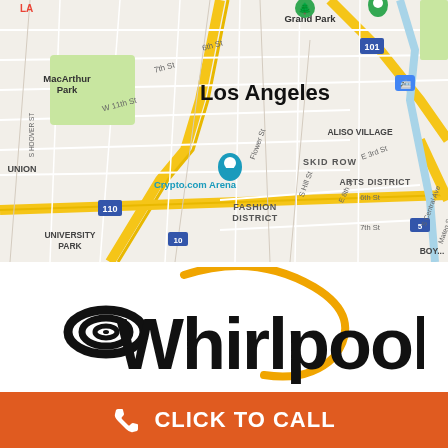[Figure (map): Google Maps view of Los Angeles downtown area showing MacArthur Park, Grand Park, Crypto.com Arena, Skid Row, Arts District, Fashion District, University Park, Aliso Village neighborhoods with street grid and highways 101, 110, 10, 5.]
[Figure (logo): Whirlpool logo with black spiral/swirl icon and bold black Whirlpool wordmark with a golden orbit arc crossing through the letters.]
CLICK TO CALL